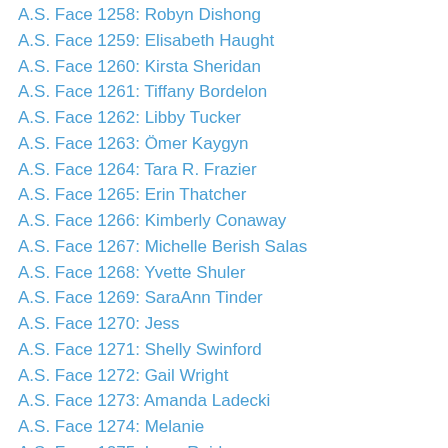A.S. Face 1258: Robyn Dishong
A.S. Face 1259: Elisabeth Haught
A.S. Face 1260: Kirsta Sheridan
A.S. Face 1261: Tiffany Bordelon
A.S. Face 1262: Libby Tucker
A.S. Face 1263: Ömer Kaygyn
A.S. Face 1264: Tara R. Frazier
A.S. Face 1265: Erin Thatcher
A.S. Face 1266: Kimberly Conaway
A.S. Face 1267: Michelle Berish Salas
A.S. Face 1268: Yvette Shuler
A.S. Face 1269: SaraAnn Tinder
A.S. Face 1270: Jess
A.S. Face 1271: Shelly Swinford
A.S. Face 1272: Gail Wright
A.S. Face 1273: Amanda Ladecki
A.S. Face 1274: Melanie
A.S. Face 1275: Lana Reid
A.S. Face 1276: Bobbi Krusmark
A.S. Face 1277: Lori Bruther